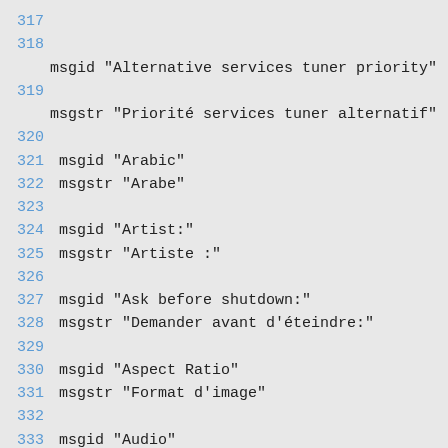317
318
msgid "Alternative services tuner priority"
319
msgstr "Priorité services tuner alternatif"
320
321 msgid "Arabic"
322 msgstr "Arabe"
323
324 msgid "Artist:"
325 msgstr "Artiste :"
326
327 msgid "Ask before shutdown:"
328 msgstr "Demander avant d'éteindre:"
329
330 msgid "Aspect Ratio"
331 msgstr "Format d'image"
332
333 msgid "Audio"
334 msgstr "Audio"